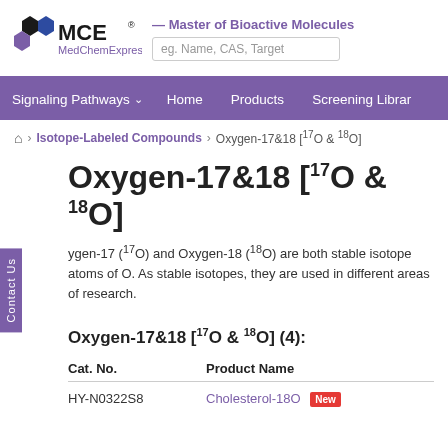[Figure (logo): MedChemExpress (MCE) logo with hexagonal flower icon in black and blue, registered trademark symbol]
— Master of Bioactive Molecules
eg. Name, CAS, Target
Signaling Pathways  Home  Products  Screening Librar
Home > Isotope-Labeled Compounds > Oxygen-17&18 [17O & 18O]
Oxygen-17&18 [17O & 18O]
Oxygen-17 (17O) and Oxygen-18 (18O) are both stable isotope atoms of O. As stable isotopes, they are used in different areas of research.
Oxygen-17&18 [17O & 18O] (4):
| Cat. No. | Product Name |
| --- | --- |
| HY-N0322S8 | Cholesterol-18O  New |